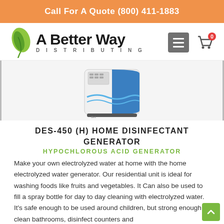Call For A Quote (800) 411-1883
[Figure (logo): A Better Way Distributing logo with green leaf icon]
[Figure (photo): DES-450 (H) Home Disinfectant Generator product photo — white and blue tabletop appliance]
DES-450 (H) HOME DISINFECTANT GENERATOR
HYPOCHLOROUS ACID GENERATOR
Make your own electrolyzed water at home with the home electrolyzed water generator. Our residential unit is ideal for washing foods like fruits and vegetables. It Can also be used to fill a spray bottle for day to day cleaning with electrolyzed water. It's safe enough to be used around children, but strong enough to clean bathrooms, disinfect counters and